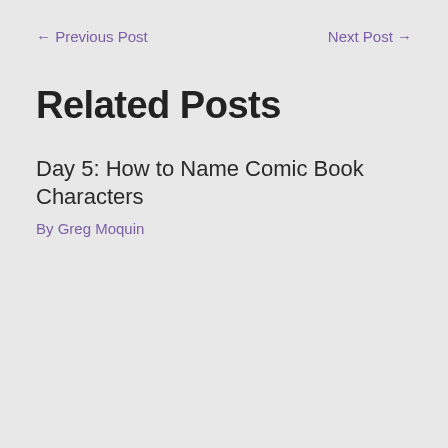← Previous Post    Next Post →
Related Posts
Day 5: How to Name Comic Book Characters
By Greg Moquin